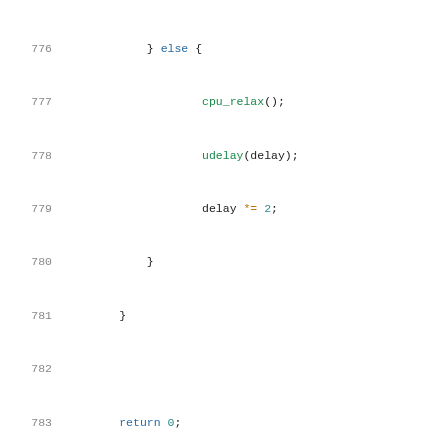Source code listing, lines 776-797, showing C kernel code with queue_write and queue_insert_raw functions.